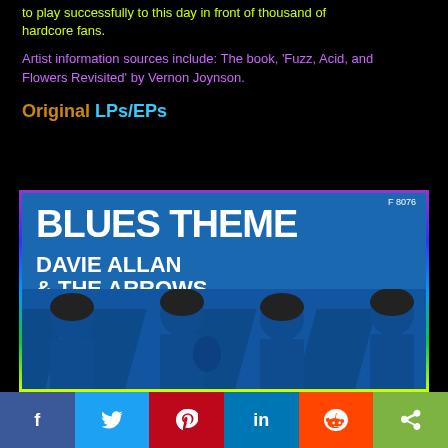to play successfully to this day in front of thousand of hardcore fans.
Artist information sources include: The book, 'Fuzz, Acid, and Flowers Revisited' by Vernon Joynson.
Original LPs/EPs
[Figure (photo): Album cover of 'Blues Theme' by Davie Allan & The Arrows on blue background with band members pictured at bottom, Tower Records label badge visible]
f  (twitter)  (pinterest)  in  (reddit)  (share)